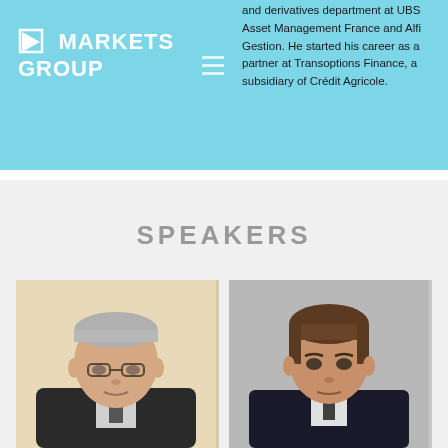[Figure (logo): Markets Group logo — white triangle/arrow icon with text MARKETS GROUP in white on cyan background]
and derivatives department at UBS Asset Management France and Alfi Gestion. He started his career as a partner at Transoptions Finance, a subsidiary of Crédit Agricole.
SPEAKERS
[Figure (photo): Headshot of older male speaker with glasses, gray hair, wearing dark suit and tie, against light beige background]
[Figure (photo): Headshot of younger male speaker with brown hair, wearing dark suit, against gray background]